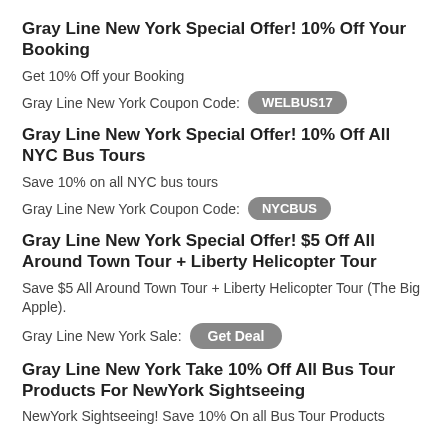Gray Line New York Special Offer! 10% Off Your Booking
Get 10% Off your Booking
Gray Line New York Coupon Code: WELBUS17
Gray Line New York Special Offer! 10% Off All NYC Bus Tours
Save 10% on all NYC bus tours
Gray Line New York Coupon Code: NYCBUS
Gray Line New York Special Offer! $5 Off All Around Town Tour + Liberty Helicopter Tour
Save $5 All Around Town Tour + Liberty Helicopter Tour (The Big Apple).
Gray Line New York Sale: Get Deal
Gray Line New York Take 10% Off All Bus Tour Products For NewYork Sightseeing
NewYork Sightseeing! Save 10% On all Bus Tour Products